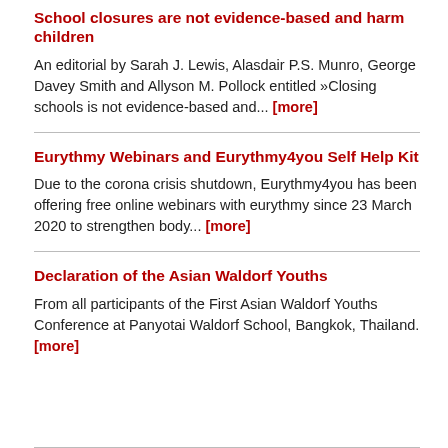School closures are not evidence-based and harm children
An editorial by Sarah J. Lewis, Alasdair P.S. Munro, George Davey Smith and Allyson M. Pollock entitled »Closing schools is not evidence-based and... [more]
Eurythmy Webinars and Eurythmy4you Self Help Kit
Due to the corona crisis shutdown, Eurythmy4you has been offering free online webinars with eurythmy since 23 March 2020 to strengthen body... [more]
Declaration of the Asian Waldorf Youths
From all participants of the First Asian Waldorf Youths Conference at Panyotai Waldorf School, Bangkok, Thailand. [more]